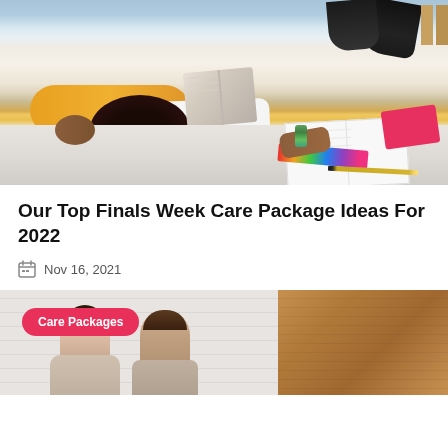[Figure (photo): A person lying on the floor with a book over their face, wearing a yellow top and white shirt, surrounded by notebooks, pens, and a pink book — study exhaustion scene]
Our Top Finals Week Care Package Ideas For 2022
Nov 16, 2021
[Figure (photo): Two people sitting together near a wooden surface, with a 'Care Packages' badge overlay in the top-left corner]